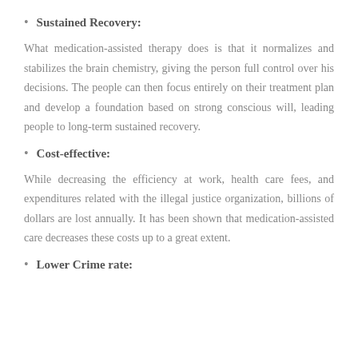Sustained Recovery:
What medication-assisted therapy does is that it normalizes and stabilizes the brain chemistry, giving the person full control over his decisions. The people can then focus entirely on their treatment plan and develop a foundation based on strong conscious will, leading people to long-term sustained recovery.
Cost-effective:
While decreasing the efficiency at work, health care fees, and expenditures related with the illegal justice organization, billions of dollars are lost annually. It has been shown that medication-assisted care decreases these costs up to a great extent.
Lower Crime rate: